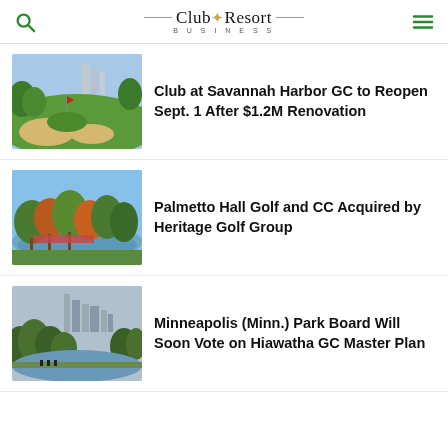Club+Resort Business
[Figure (photo): Golf course with sand bunkers and green fairway, buildings in background]
Club at Savannah Harbor GC to Reopen Sept. 1 After $1.2M Renovation
[Figure (photo): Golf course with pond and autumn trees, scenic landscape]
Palmetto Hall Golf and CC Acquired by Heritage Golf Group
[Figure (photo): Park golf course with city skyline visible through trees and a pond]
Minneapolis (Minn.) Park Board Will Soon Vote on Hiawatha GC Master Plan